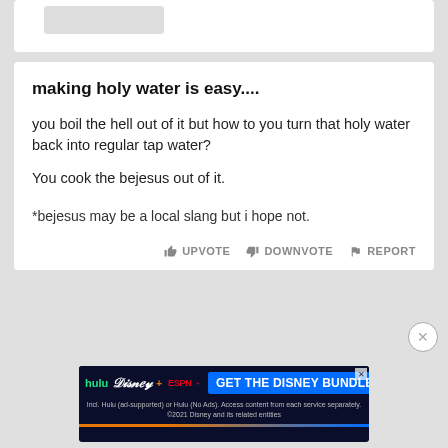making holy water is easy....
you boil the hell out of it but how to you turn that holy water back into regular tap water?
You cook the bejesus out of it.
*bejesus may be a local slang but i hope not.
UPVOTE   DOWNVOTE   REPORT
[Figure (screenshot): Disney Bundle advertisement banner showing Hulu, Disney+, ESPN+ logos with 'GET THE DISNEY BUNDLE' call to action button]